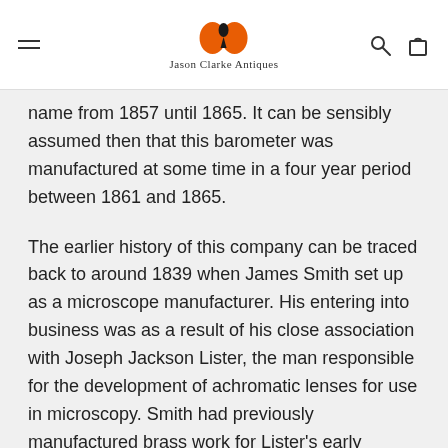Jason Clarke Antiques
name from 1857 until 1865. It can be sensibly assumed then that this barometer was manufactured at some time in a four year period between 1861 and 1865.
The earlier history of this company can be traced back to around 1839 when James Smith set up as a microscope manufacturer. His entering into business was as a result of his close association with Joseph Jackson Lister, the man responsible for the development of achromatic lenses for use in microscopy. Smith had previously manufactured brass work for Lister's early experiments and was encouraged by him. The Beck brothers were nephews of Lister and Smith initially took on Richard Beck as an apprentice, finally culminating in the formation of a